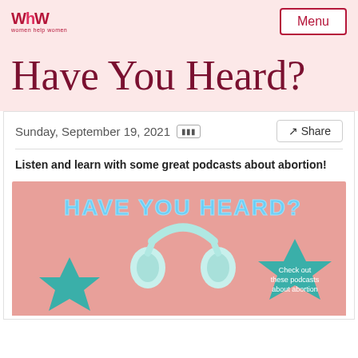WHW - women help women | Menu
Have You Heard?
Sunday, September 19, 2021
Listen and learn with some great podcasts about abortion!
[Figure (illustration): Pink background graphic with teal stars and a light teal/mint headphone in the center. Text at top reads 'HAVE YOU HEARD?' in blue bubble letters. A teal star on the right contains text: 'Check out these podcasts about abortion'.]